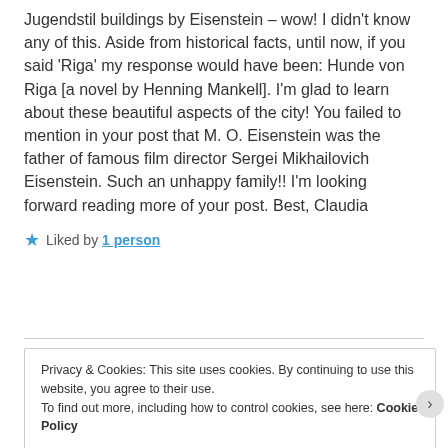Jugendstil buildings by Eisenstein – wow! I didn't know any of this. Aside from historical facts, until now, if you said 'Riga' my response would have been: Hunde von Riga [a novel by Henning Mankell]. I'm glad to learn about these beautiful aspects of the city! You failed to mention in your post that M. O. Eisenstein was the father of famous film director Sergei Mikhailovich Eisenstein. Such an unhappy family!! I'm looking forward reading more of your post. Best, Claudia
Liked by 1 person
Privacy & Cookies: This site uses cookies. By continuing to use this website, you agree to their use. To find out more, including how to control cookies, see here: Cookie Policy
Close and accept